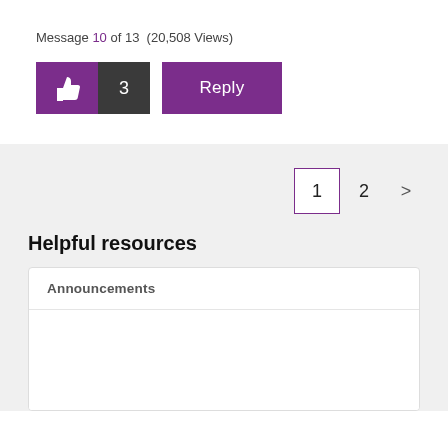Message 10 of 13  (20,508 Views)
[Figure (screenshot): Like button with thumbs up icon (purple background), count badge showing 3 (dark background), and Reply button (purple background)]
[Figure (screenshot): Pagination controls showing page 1 (highlighted with purple border), page 2, and a right arrow next button]
Helpful resources
Announcements